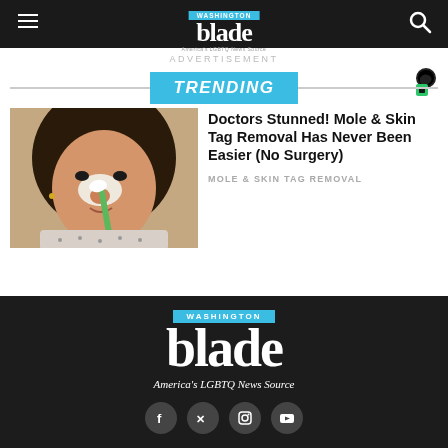Washington Blade — America's LGBTQ News Source
ADVERTISEMENT
TRENDING
[Figure (photo): Woman applying white face cream with a green brush to her nose area]
Doctors Stunned! Mole & Skin Tag Removal Has Never Been Easier (No Surgery)
MOLE & SKIN TAG REMOVAL
Washington Blade — America's LGBTQ News Source